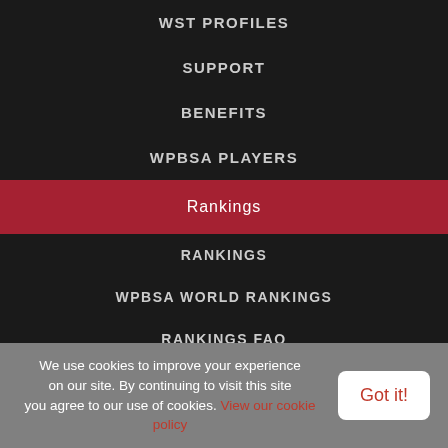WST PROFILES
SUPPORT
BENEFITS
WPBSA PLAYERS
Rankings
RANKINGS
WPBSA WORLD RANKINGS
RANKINGS FAQ
RACE TO THE CRUCIBLE
We use cookies to improve your experience on our site. By continuing to visit this site you agree to our use of cookies. View our cookie policy